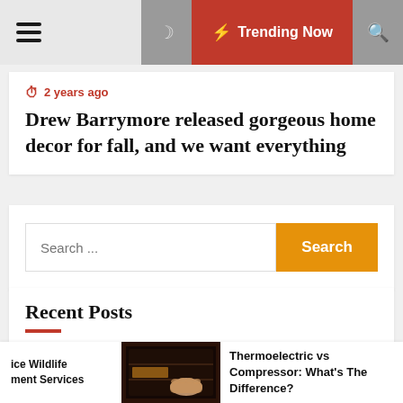☰ Trending Now
2 years ago
Drew Barrymore released gorgeous home decor for fall, and we want everything
Search ...
Recent Posts
Why Invest in Nuisance Wildlife Removal and Management Services
ice Wildlife ment Services
Thermoelectric vs Compressor: What's The Difference?